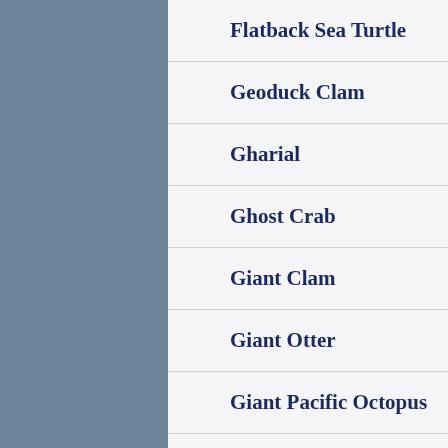Flatback Sea Turtle
Geoduck Clam
Gharial
Ghost Crab
Giant Clam
Giant Otter
Giant Pacific Octopus
Giant Sea Spider